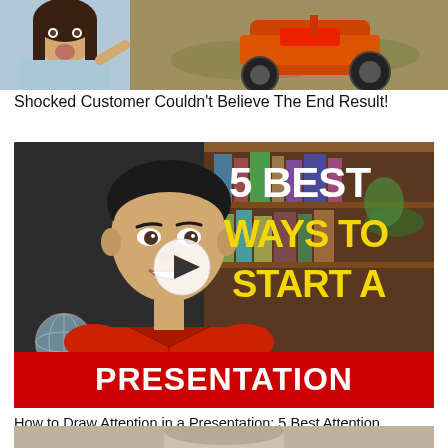[Figure (photo): Thumbnail image showing a shocked woman on the left and an overturned red lawn mower on the right, on a leafy background]
Shocked Customer Couldn't Believe The End Result!
[Figure (screenshot): YouTube video thumbnail of a man in a red jacket smiling, with text overlay '5 BEST WAYS TO START A PRESENTATION' and a play button]
How to Draw Attention in a Presentation: 5 Best Attention Grabbers (Part 1 of 5)
[Figure (photo): Partial thumbnail of another video at the bottom of the page]